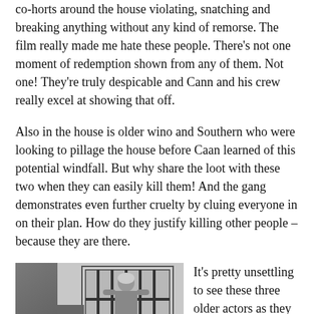co-horts around the house violating, snatching and breaking anything without any kind of remorse. The film really made me hate these people. There’s not one moment of redemption shown from any of them. Not one! They’re truly despicable and Cann and his crew really excel at showing that off.
Also in the house is older wino and Southern who were looking to pillage the house before Caan learned of this potential windfall. But why share the loot with these two when they can easily kill them! And the gang demonstrates even further cruelty by cluing everyone in on their plan. How do they justify killing other people – because they are there.
[Figure (photo): Black and white film still showing a person behind bars on a window/door, with what appears to be a large mechanical object in the foreground left.]
It’s pretty unsettling to see these three older actors as they beg, shiver and